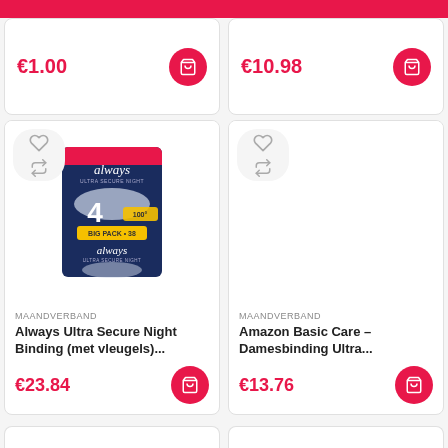€1.00
€10.98
[Figure (photo): Always Ultra Secure Night Binding product package — dark navy packaging with the Always logo and size indicator 4, Big Pack]
MAANDVERBAND
Always Ultra Secure Night Binding (met vleugels)...
€23.84
MAANDVERBAND
Amazon Basic Care – Damesbinding Ultra...
€13.76